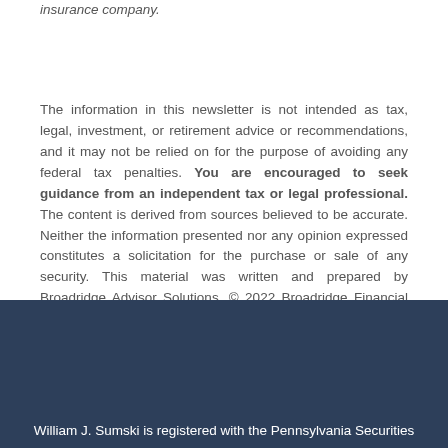insurance company.
The information in this newsletter is not intended as tax, legal, investment, or retirement advice or recommendations, and it may not be relied on for the purpose of avoiding any federal tax penalties. You are encouraged to seek guidance from an independent tax or legal professional. The content is derived from sources believed to be accurate. Neither the information presented nor any opinion expressed constitutes a solicitation for the purchase or sale of any security. This material was written and prepared by Broadridge Advisor Solutions. © 2022 Broadridge Financial Solutions, Inc.
William J. Sumski is registered with the Pennsylvania Securities